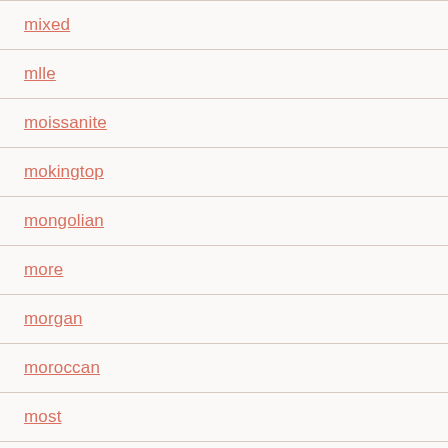mixed
mlle
moissanite
mokingtop
mongolian
more
morgan
moroccan
most
multi